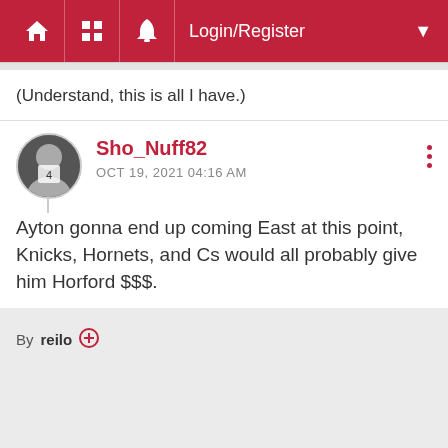Login/Register
(Understand, this is all I have.)
Sho_Nuff82
OCT 19, 2021 04:16 AM

Ayton gonna end up coming East at this point, Knicks, Hornets, and Cs would all probably give him Horford $$$.
By reilo